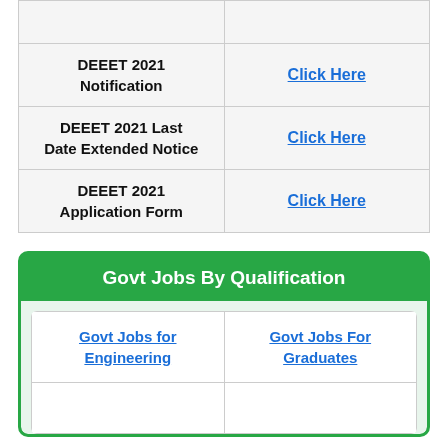|  |  |
| --- | --- |
|  |  |
| DEEET 2021 Notification | Click Here |
| DEEET 2021 Last Date Extended Notice | Click Here |
| DEEET 2021 Application Form | Click Here |
Govt Jobs By Qualification
| Govt Jobs for Engineering | Govt Jobs For Graduates |
|  |  |